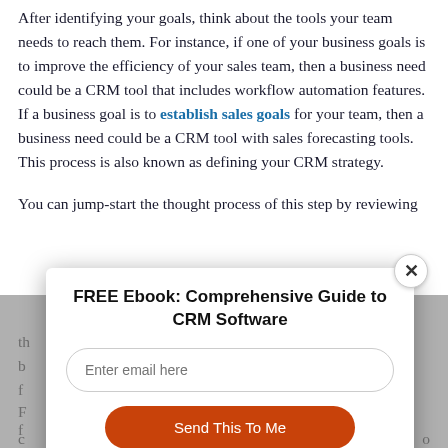After identifying your goals, think about the tools your team needs to reach them. For instance, if one of your business goals is to improve the efficiency of your sales team, then a business need could be a CRM tool that includes workflow automation features. If a business goal is to establish sales goals for your team, then a business need could be a CRM tool with sales forecasting tools. This process is also known as defining your CRM strategy.
You can jump-start the thought process of this step by reviewing th... b... f...
F... f...
c... o
[Figure (other): Modal popup overlay with title 'FREE Ebook: Comprehensive Guide to CRM Software', an email input field with placeholder 'Enter email here', and an orange 'Send This To Me' button. A close (X) button is in the top-right corner of the modal.]